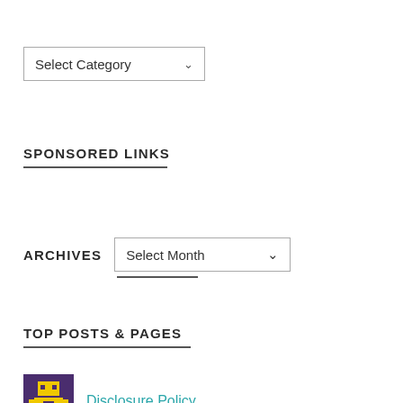[Figure (screenshot): Dropdown select input showing 'Select Category' with a downward chevron arrow]
SPONSORED LINKS
ARCHIVES
[Figure (screenshot): Dropdown select input showing 'Select Month' with a downward chevron arrow]
TOP POSTS & PAGES
[Figure (illustration): Pixel art icon with a yellow robot/character on a dark purple background]
Disclosure Policy